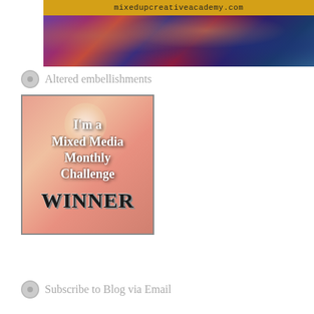[Figure (photo): Banner image for mixedupcreativeacademy.com with golden yellow top bar showing website URL and colorful mixed media art collage photo below]
Altered embellishments
[Figure (illustration): Badge image reading 'I'm a Mixed Media Monthly Challenge WINNER' on a pink/peach watercolor background with light bokeh effect]
Subscribe to Blog via Email